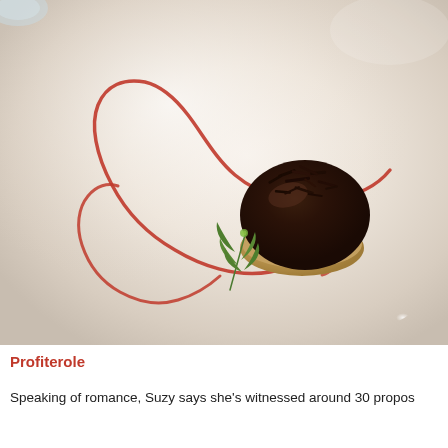[Figure (photo): A plated profiterole dessert on a white plate with a swirl of red berry sauce and a green herb garnish. The profiterole is topped with dark chocolate ganache and chocolate shavings.]
Profiterole
Speaking of romance, Suzy says she's witnessed around 30 propos